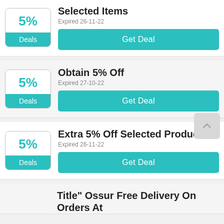Selected Items – Expired 26-11-22 – Get Deal – 5% Deals badge
Obtain 5% Off – Expired 27-10-22 – Get Deal – 5% Deals badge
Extra 5% Off Selected Products – Expired 26-11-22 – Get Deal – 5% Deals badge
Title" Ossur Free Delivery On Orders At